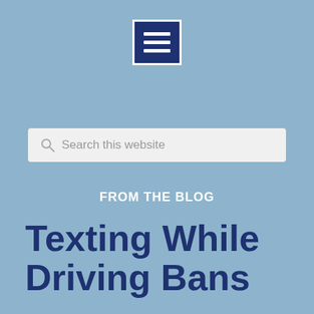[Figure (other): Navy blue menu/hamburger icon with three white horizontal lines, inside a white-bordered square]
Search this website
FROM THE BLOG
Texting While Driving Bans